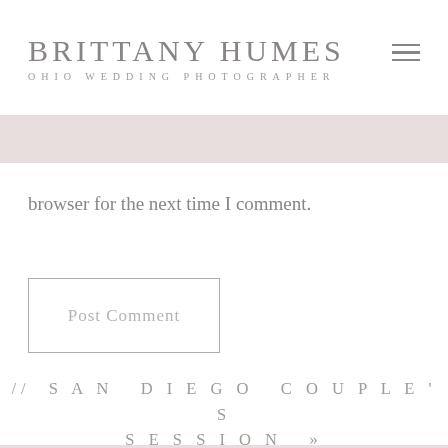BRITTANY HUMES OHIO WEDDING PHOTOGRAPHER
browser for the next time I comment.
Post Comment
// SAN DIEGO COUPLE'S SESSION »
« // THE MAJESTIC FAMILY // SOUTHERN CALIFORNIA